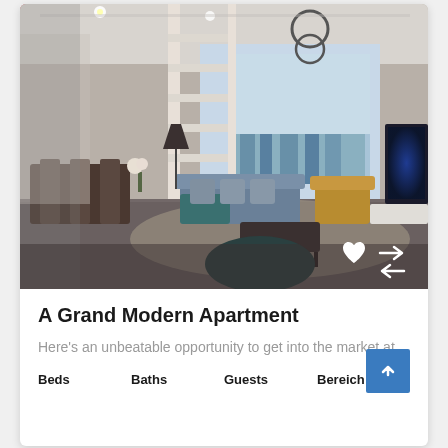[Figure (photo): Interior photo of a grand modern apartment living room with a sofa, armchairs, shelving unit, dining area, large windows with city view, pendant lights, and a TV on the right wall.]
A Grand Modern Apartment
Here's an unbeatable opportunity to get into the market at...
Beds   Baths   Guests   Bereich